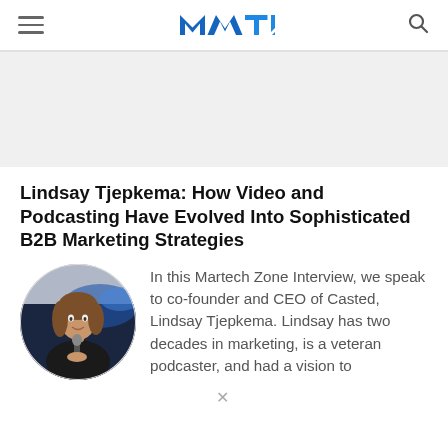MTC (Martech Zone) logo with hamburger menu and search icon
[Figure (other): Advertisement / banner placeholder area]
Lindsay Tjepkema: How Video and Podcasting Have Evolved Into Sophisticated B2B Marketing Strategies
[Figure (photo): Circular portrait photo of Lindsay Tjepkema on stage holding a microphone, wearing a black jacket]
In this Martech Zone Interview, we speak to co-founder and CEO of Casted, Lindsay Tjepkema. Lindsay has two decades in marketing, is a veteran podcaster, and had a vision to